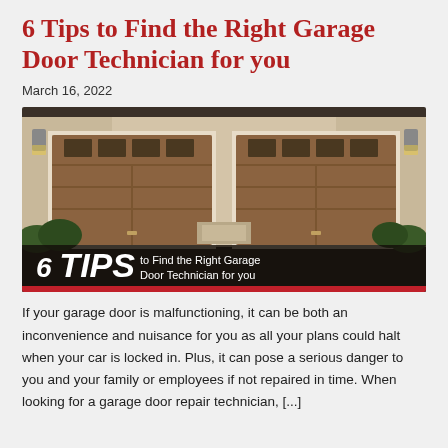6 Tips to Find the Right Garage Door Technician for you
March 16, 2022
[Figure (photo): Photo of a home with two wooden garage doors with windows at the top, landscaping visible. Overlaid text reads: '6 TIPS to Find the Right Garage Door Technician for you' with a red bar at the bottom.]
If your garage door is malfunctioning, it can be both an inconvenience and nuisance for you as all your plans could halt when your car is locked in. Plus, it can pose a serious danger to you and your family or employees if not repaired in time. When looking for a garage door repair technician, [...]